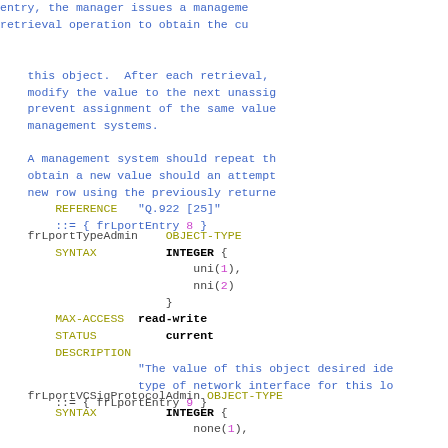entry, the manager issues a management retrieval operation to obtain the current value of this object. After each retrieval, the manager should modify the value to the next unassigned value to prevent assignment of the same value by multiple management systems. A management system should repeat the retrieval to obtain a new value should an attempt to create a new row using the previously returned value fail. REFERENCE "Q.922 [25]" ::= { frLportEntry 8 }
frLportTypeAdmin OBJECT-TYPE
    SYNTAX          INTEGER {
                        uni(1),
                        nni(2)
                    }
    MAX-ACCESS  read-write
    STATUS          current
    DESCRIPTION
                "The value of this object desired identifies the type of network interface for this lo"
    ::= { frLportEntry 9 }
frLportVCSigProtocolAdmin OBJECT-TYPE
    SYNTAX          INTEGER {
                        none(1),